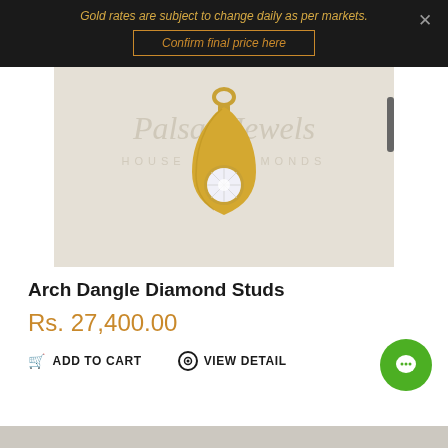Gold rates are subject to change daily as per markets.
Confirm final price here
[Figure (photo): Gold teardrop pendant with diamond solitaire set in bezel, showing Palsan Jewels House of Diamonds watermark on light background]
Arch Dangle Diamond Studs
Rs. 27,400.00
ADD TO CART
VIEW DETAIL